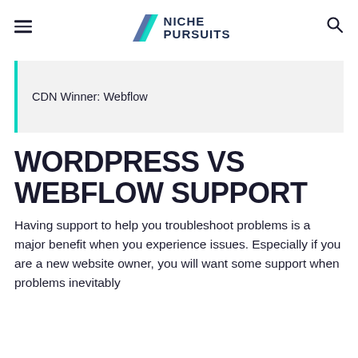Niche Pursuits
CDN Winner: Webflow
WORDPRESS VS WEBFLOW SUPPORT
Having support to help you troubleshoot problems is a major benefit when you experience issues. Especially if you are a new website owner, you will want some support when problems inevitably